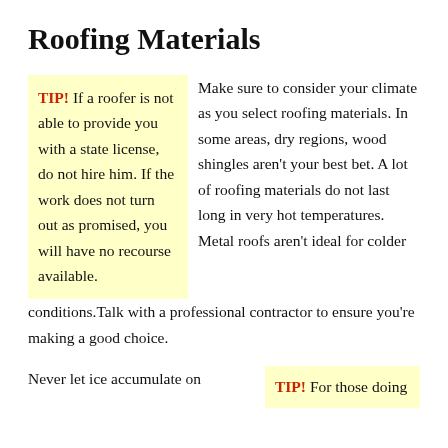Roofing Materials
TIP! If a roofer is not able to provide you with a state license, do not hire him. If the work does not turn out as promised, you will have no recourse available.
Make sure to consider your climate as you select roofing materials. In some areas, dry regions, wood shingles aren't your best bet. A lot of roofing materials do not last long in very hot temperatures. Metal roofs aren't ideal for colder conditions. Talk with a professional contractor to ensure you're making a good choice.
Never let ice accumulate on
TIP! For those doing